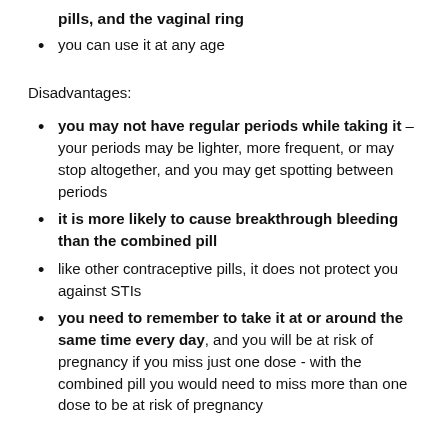pills, and the vaginal ring
you can use it at any age
Disadvantages:
you may not have regular periods while taking it – your periods may be lighter, more frequent, or may stop altogether, and you may get spotting between periods
it is more likely to cause breakthrough bleeding than the combined pill
like other contraceptive pills, it does not protect you against STIs
you need to remember to take it at or around the same time every day, and you will be at risk of pregnancy if you miss just one dose - with the combined pill you would need to miss more than one dose to be at risk of pregnancy